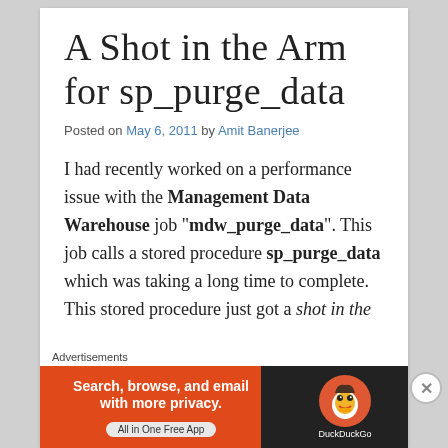A Shot in the Arm for sp_purge_data
Posted on May 6, 2011 by Amit Banerjee
I had recently worked on a performance issue with the Management Data Warehouse job “mdw_purge_data”. This job calls a stored procedure sp_purge_data which was taking a long time to complete. This stored procedure just got a shot in the
Advertisements
[Figure (other): DuckDuckGo advertisement banner: orange background with text 'Search, browse, and email with more privacy. All in One Free App' and DuckDuckGo logo on dark background]